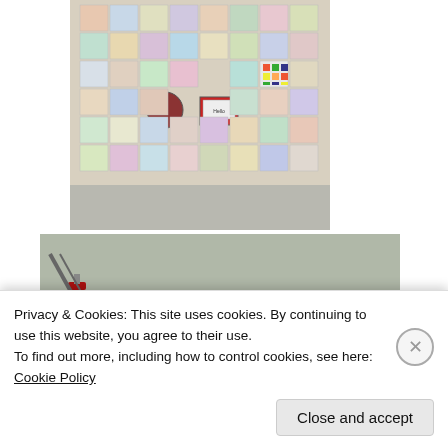[Figure (photo): A patchwork quilt with many colorful embroidered and appliqued squares hanging on a wall. The squares show various cartoon characters, toys including a Rubik's cube, and other decorative motifs.]
[Figure (photo): A stuffed animal dinosaur (stegosaurus) with yellow spikes on its back and green patchwork body, sitting on a surface in a room.]
Privacy & Cookies: This site uses cookies. By continuing to use this website, you agree to their use.
To find out more, including how to control cookies, see here: Cookie Policy
Close and accept